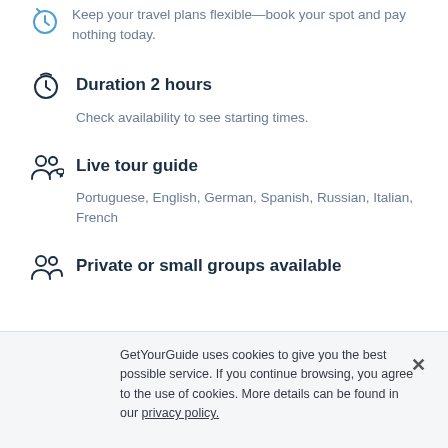Keep your travel plans flexible—book your spot and pay nothing today.
Duration 2 hours
Check availability to see starting times.
Live tour guide
Portuguese, English, German, Spanish, Russian, Italian, French
Private or small groups available
Experience
GetYourGuide uses cookies to give you the best possible service. If you continue browsing, you agree to the use of cookies. More details can be found in our privacy policy.